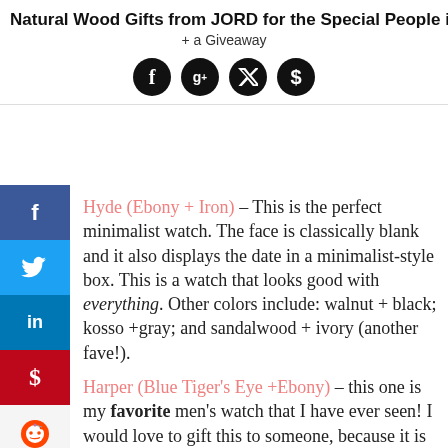Natural Wood Gifts from JORD for the Special People in Your L[ife] + a Giveaway
[Figure (infographic): Four circular social media share buttons: Facebook (f), Google+ (g+), Twitter (bird), Pinterest (p)]
Hyde (Ebony + Iron) – This is the perfect minimalist watch. The face is classically blank and it also displays the date in a minimalist-style box. This is a watch that looks good with everything. Other colors include: walnut + black; kosso +gray; and sandalwood + ivory (another fave!).
Harper (Blue Tiger's Eye +Ebony) – this one is my favorite men's watch that I have ever seen! I would love to gift this to someone, because it is so original and gorgeous. JORD describes the Harper style as boldly minimalist, and I couldn't agree more! Other colors include: black marble + walnut and gray leathered marble +